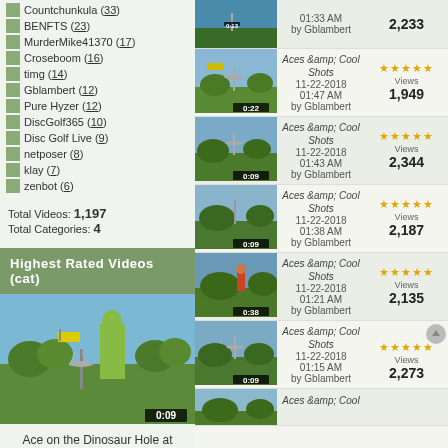Countchunkula (33)
BENFTS (23)
MurderMike41370 (17)
Croseboom (16)
timg (14)
Gblambert (12)
Pure Hyzer (12)
DiscGolf365 (10)
Disc Golf Live (9)
netposer (8)
klay (7)
zenbot (6)
Total Videos: 1,197
Total Categories: 4
Highest Rated Videos (cat)
[Figure (screenshot): Video thumbnail showing disc golf basket with dinosaur statue, duration 0:09]
Ace on the Dinosaur Hole at the Flying Armadillo
[Figure (screenshot): Video thumbnail of disc golf shot, duration 0:13, Views 2,233, by Gblambert]
[Figure (screenshot): Video thumbnail of disc golf shot, 0:22, Aces &amp; Cool Shots, 11-22-2018, 01:47 AM, by Gblambert, Views 1,949]
[Figure (screenshot): Video thumbnail of disc golf shot, 0:09, Aces &amp; Cool Shots, 11-22-2018, 01:43 AM, by Gblambert, Views 2,344]
[Figure (screenshot): Video thumbnail of disc golf shot, 0:09, Aces &amp; Cool Shots, 11-22-2018, 01:38 AM, by Gblambert, Views 2,187]
[Figure (screenshot): Video thumbnail of disc golf shot, 0:38, Aces &amp; Cool Shots, 11-22-2018, 01:21 AM, by Gblambert, Views 2,135]
[Figure (screenshot): Video thumbnail of disc golf shot, 0:09, Aces &amp; Cool Shots, 11-22-2018, 01:15 AM, by Gblambert, Views 2,273]